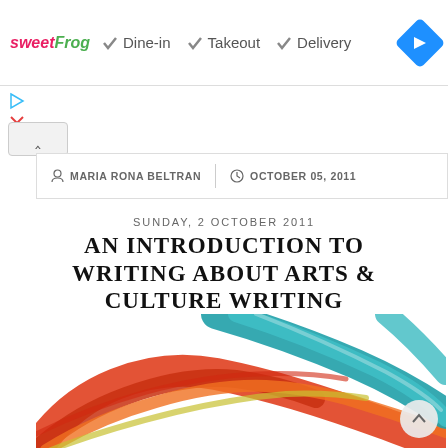[Figure (screenshot): Ad banner for sweetFrog with Dine-in, Takeout, Delivery options and navigation icon]
MARIA RONA BELTRAN | OCTOBER 05, 2011
SUNDAY, 2 OCTOBER 2011
AN INTRODUCTION TO WRITING ABOUT ARTS & CULTURE WRITING WORKSHOP
[Figure (illustration): Colorful abstract paint brush strokes in red, orange, teal, blue, and yellow on white background]